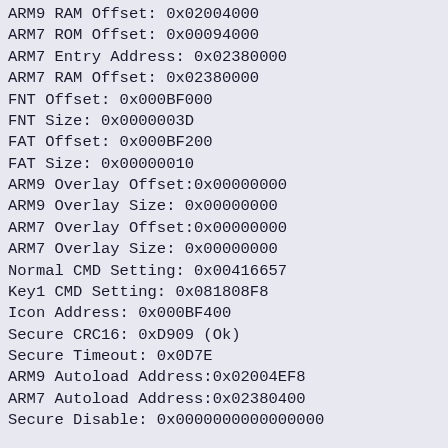ARM9 RAM Offset:    0x02004000
ARM7 ROM Offset:    0x00094000
ARM7 Entry Address: 0x02380000
ARM7 RAM Offset:    0x02380000
FNT Offset:         0x000BF000
FNT Size:           0x0000003D
FAT Offset:         0x000BF200
FAT Size:           0x00000010
ARM9 Overlay Offset:0x00000000
ARM9 Overlay Size:  0x00000000
ARM7 Overlay Offset:0x00000000
ARM7 Overlay Size:  0x00000000
Normal CMD Setting: 0x00416657
Key1 CMD Setting:   0x081808F8
Icon Address:       0x000BF400
Secure CRC16:       0xD909 (Ok)
Secure Timeout:     0x0D7E
ARM9 Autoload Address:0x02004EF8
ARM7 Autoload Address:0x02380400
Secure Disable:     0x0000000000000000